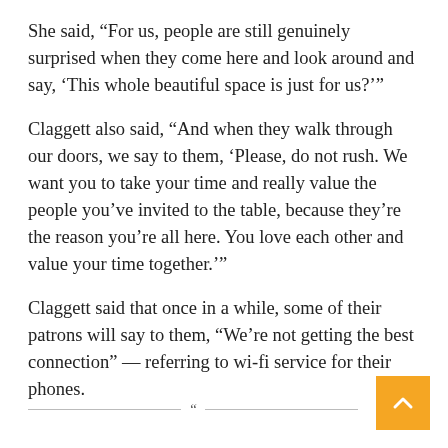She said, “For us, people are still genuinely surprised when they come here and look around and say, ‘This whole beautiful space is just for us?’”
Claggett also said, “And when they walk through our doors, we say to them, ‘Please, do not rush. We want you to take your time and really value the people you’ve invited to the table, because they’re the reason you’re all here. You love each other and value your time together.’”
Claggett said that once in a while, some of their patrons will say to them, “We’re not getting the best connection” — referring to wi-fi service for their phones.